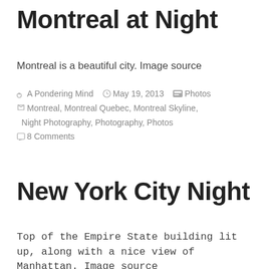Montreal at Night
Montreal is a beautiful city. Image source
A Pondering Mind  May 19, 2013  Photos  Montreal, Montreal Quebec, Montreal Skyline, Night Photography, Photography, Photos  8 Comments
New York City Night
Top of the Empire State building lit up, along with a nice view of Manhattan. Image source